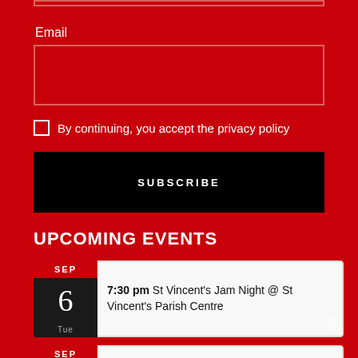Email
By continuing, you accept the privacy policy
SUBSCRIBE
UPCOMING EVENTS
SEP 6 Tue — 7:30 pm St Vincent's Jam Night @ St Vincent's Parish Centre
SEP 7 Wed — 8:45 pm Lyndene Hotel @ Lyndene Hotel